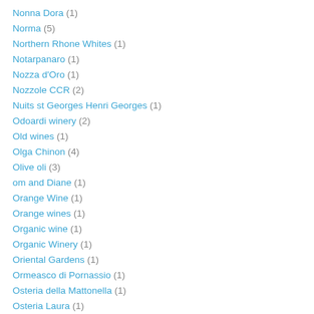Nonna Dora (1)
Norma (5)
Northern Rhone Whites (1)
Notarpanaro (1)
Nozza d'Oro (1)
Nozzole CCR (2)
Nuits st Georges Henri Georges (1)
Odoardi winery (2)
Old wines (1)
Olga Chinon (4)
Olive oli (3)
om and Diane (1)
Orange Wine (1)
Orange wines (1)
Organic wine (1)
Organic Winery (1)
Oriental Gardens (1)
Ormeasco di Pornassio (1)
Osteria della Mattonella (1)
Osteria Laura (1)